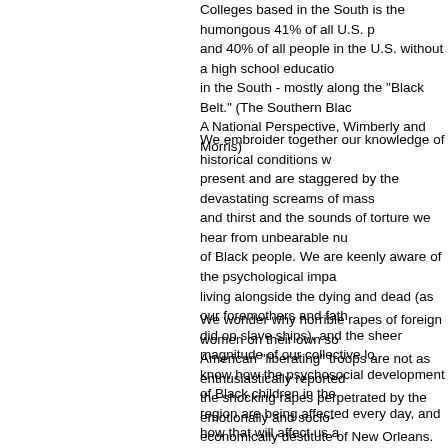Colleges based in the South is the humongous 41% of all U.S. p... and 40% of all people in the U.S. without a high school educatio... in the South - mostly along the "Black Belt." (The Southern Blac... A National Perspective, Wimberly and Morris)
We embroider together our knowledge of historical conditions w... present and are staggered by the devastating screams of mass ... and thirst and the sounds of torture we hear from unbearable nu... of Black people. We are keenly aware of the psychological impa... living alongside the dying and dead (as our foremothers and fath... did on slave ships), and the sheer magnitude of our collective lo... know how the psychosocial development of Black children in the... region are being affected every day, and how that will affect us a... people. We try to imagine how brotha's and sistah's with HIV/AI... diabetes and cancers must be suffering with no medication and ... medical care.
We wonder why horrible rapes of foreign women on their own so... American "liberating" troops are not as enthusiastically reported... the shocking rapes perpetrated by the emotionally and socio-economically destitute of New Orleans. We are appalled by repo... describing White folks "as American citizens finding goods for th... needs" while referencing Black folk who are finding goods for th... needs as "looters" and "out of control refugees." We question wh... the White thieves are, who we know are functioning throughout ... area. And, we know the same cable "news" personnel who have ... presented excellent grounds for disbarment from professional credibility will likely be awarded for journalistic excellence for, an... other things, downgrading Black citizen status.